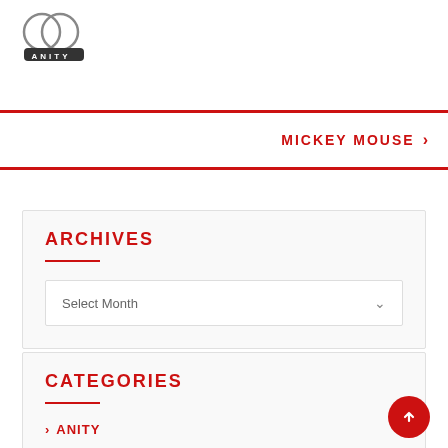[Figure (logo): ANITY logo with two overlapping circles icon above a dark rounded rectangle bar with text ANITY in white letters]
MICKEY MOUSE ›
ARCHIVES
Select Month
CATEGORIES
› ANITY